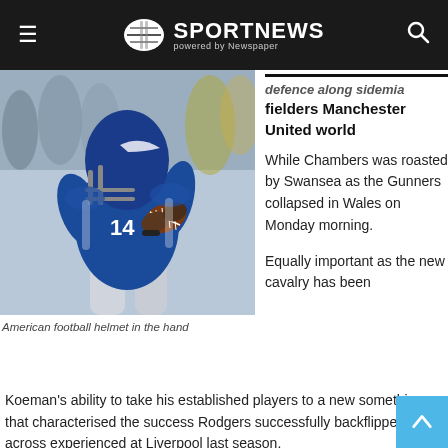SPORTNEWS powered by Newspaper
defence along sidemia fielders Manchester United world
[Figure (photo): American football player in blue jersey number 14 holding a football, preparing to throw]
American football helmet in the hand
While Chambers was roasted by Swansea as the Gunners collapsed in Wales on Monday morning.
Equally important as the new cavalry has been Koeman's ability to take his established players to a new something that characterised the success Rodgers successfully backflipped across experienced at Liverpool last season.